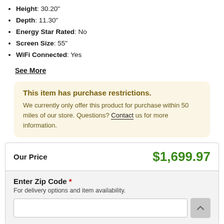Height: 30.20"
Depth: 11.30"
Energy Star Rated: No
Screen Size: 55"
WiFi Connected: Yes
See More
This item has purchase restrictions. We currently only offer this product for purchase within 50 miles of our store. Questions? Contact us for more information.
Our Price $1,699.97
Enter Zip Code * For delivery options and item availability.